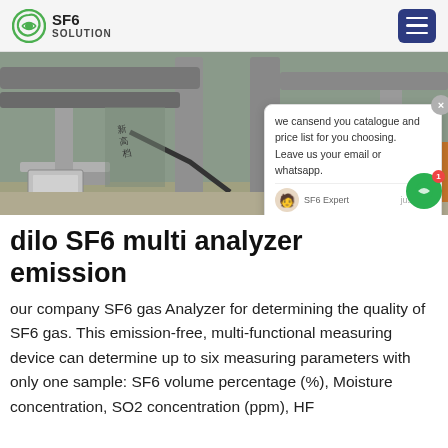SF6 SOLUTION
[Figure (photo): Industrial SF6 equipment installation site showing metal columns, cabling, and measurement devices outdoors. Chinese text visible on signage.]
dilo SF6 multi analyzer emission
our company SF6 gas Analyzer for determining the quality of SF6 gas. This emission-free, multi-functional measuring device can determine up to six measuring parameters with only one sample: SF6 volume percentage (%), Moisture concentration, SO2 concentration (ppm), HF